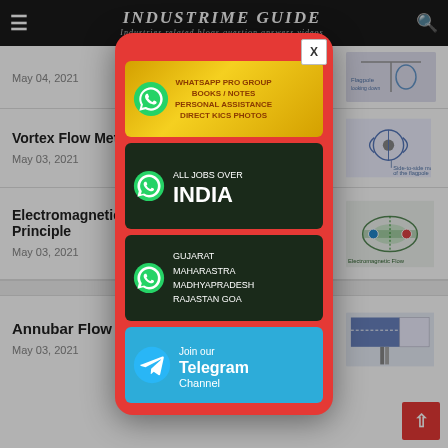INDUSTRIME GUIDE — Industries related blogs question answers videos
May 04, 2021
Vortex Flow Mete...
May 03, 2021
Electromagnetic F... Principle
May 03, 2021
Annubar Flow Meter
May 03, 2021
[Figure (screenshot): Popup advertisement card with WhatsApp group join links, All Jobs Over India WhatsApp group, Gujarat/Maharashtra/Madhyapradesh/Rajastan Goa WhatsApp group, and Join our Telegram Channel banner. Has X close button.]